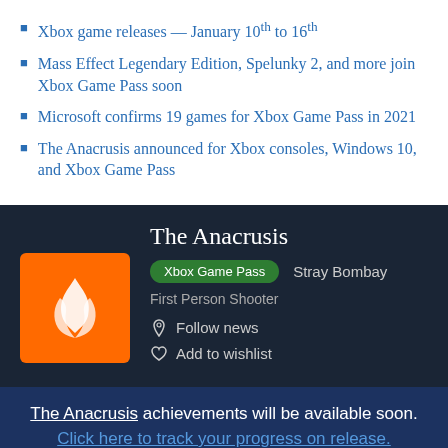Xbox game releases — January 10th to 16th
Mass Effect Legendary Edition, Spelunky 2, and more join Xbox Game Pass soon
Microsoft confirms 19 games for Xbox Game Pass in 2021
The Anacrusis announced for Xbox consoles, Windows 10, and Xbox Game Pass
The Anacrusis
Xbox Game Pass   Stray Bombay
First Person Shooter
Follow news
Add to wishlist
The Anacrusis achievements will be available soon. Click here to track your progress on release.